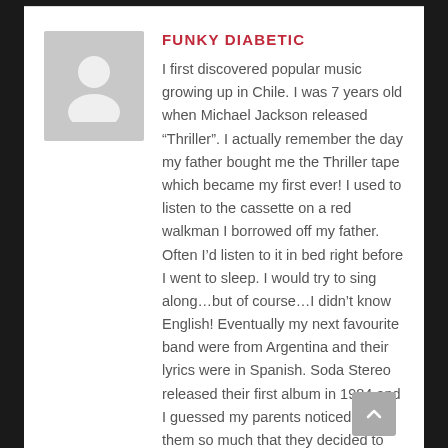FUNKY DIABETIC
I first discovered popular music growing up in Chile. I was 7 years old when Michael Jackson released “Thriller”. I actually remember the day my father bought me the Thriller tape which became my first ever! I used to listen to the cassette on a red walkman I borrowed off my father. Often I’d listen to it in bed right before I went to sleep. I would try to sing along…but of course…I didn’t know English! Eventually my next favourite band were from Argentina and their lyrics were in Spanish. Soda Stereo released their first album in 1984 and I guessed my parents noticed I like them so much that they decided to buy me the